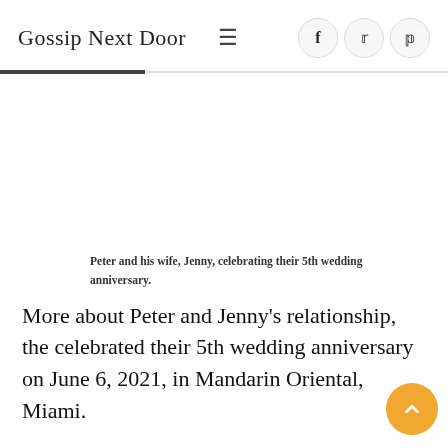Gossip Next Door
Peter and his wife, Jenny, celebrating their 5th wedding anniversary.
More about Peter and Jenny's relationship, the celebrated their 5th wedding anniversary on June 6, 2021, in Mandarin Oriental, Miami.